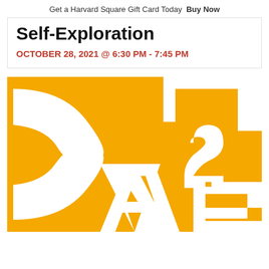Get a Harvard Square Gift Card Today  Buy Now
Self-Exploration
OCTOBER 28, 2021 @ 6:30 PM - 7:45 PM
[Figure (logo): Gold/yellow abstract logo graphic with white geometric letter shapes (C, A, E or similar) on a golden-yellow background, appearing to be an institutional or event logo.]